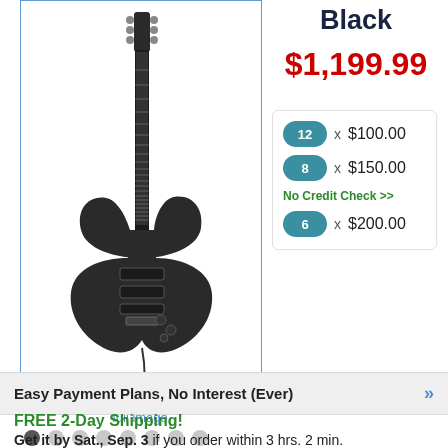[Figure (photo): Black electric guitar (Stratocaster-style) displayed vertically against a white background with a blue border]
full image
Black
$1,199.99
12 x $100.00
8 x $150.00
No Credit Check >>
6 x $200.00
Easy Payment Plans, No Interest (Ever) »
FREE 2-Day Shipping!
Get it by Sat., Sep. 3 if you order within 3 hrs. 2 min.
Faster Shipping